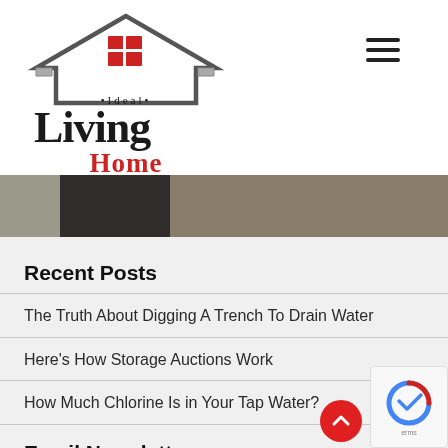[Figure (logo): Ideal Living Home logo with house icon and text]
[Figure (photo): Partial hero image, blurred outdoor scene]
Recent Posts
The Truth About Digging A Trench To Drain Water
Here's How Storage Auctions Work
How Much Chlorine Is in Your Tap Water?
Email Newsletter
Name